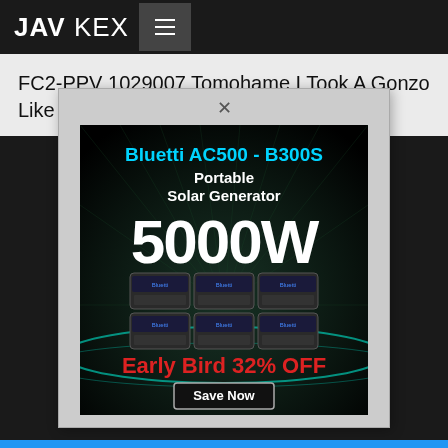JAV KEX
FC2-PPV 1029007 Tomohame I Took A Gonzo Like A Friend 7th
[Figure (other): Advertisement popup for Bluetti AC500 - B300S Portable Solar Generator, 5000W, Early Bird 32% OFF, with Save Now button. Shows product images of battery units on a dark background with radiating light lines.]